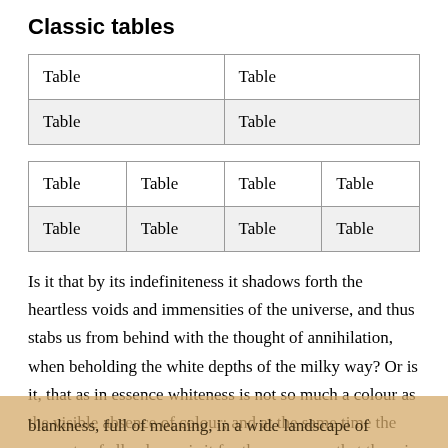Classic tables
| Table | Table |
| Table | Table |
| Table | Table | Table | Table |
| Table | Table | Table | Table |
Is it that by its indefiniteness it shadows forth the heartless voids and immensities of the universe, and thus stabs us from behind with the thought of annihilation, when beholding the white depths of the milky way? Or is it, that as in essence whiteness is not so much a colour as the visible absence of colour; and at the same time the concrete of all colours; is it for these reasons that there is such a dumb blankness, full of meaning, in a wide landscape of